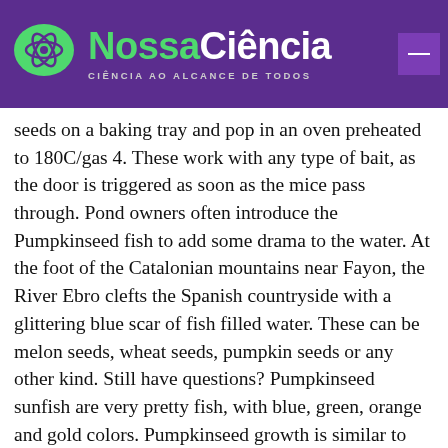NossaCiência — CIÊNCIA AO ALCANCE DE TODOS
seeds on a baking tray and pop in an oven preheated to 180C/gas 4. These work with any type of bait, as the door is triggered as soon as the mice pass through. Pond owners often introduce the Pumpkinseed fish to add some drama to the water. At the foot of the Catalonian mountains near Fayon, the River Ebro clefts the Spanish countryside with a glittering blue scar of fish filled water. These can be melon seeds, wheat seeds, pumpkin seeds or any other kind. Still have questions? Pumpkinseed sunfish are very pretty fish, with blue, green, orange and gold colors. Pumpkinseed growth is similar to that of bluegills. He gave the advice in response to CBS' Norah O'Donnell, who asked about predictive models that estimate 3,000 Americans a day may die of coronavirus in the weeks after Christmas. In the UK freshwater bream are considered an angling fish and are